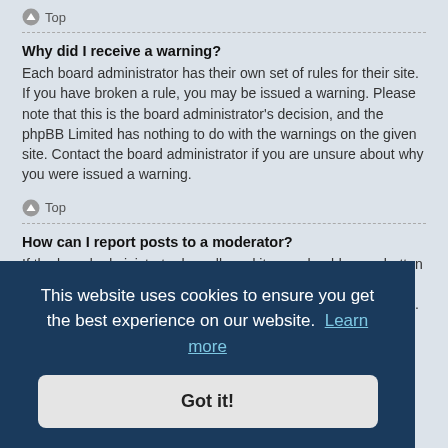Top
Why did I receive a warning?
Each board administrator has their own set of rules for their site. If you have broken a rule, you may be issued a warning. Please note that this is the board administrator's decision, and the phpBB Limited has nothing to do with the warnings on the given site. Contact the board administrator if you are unsure about why you were issued a warning.
Top
How can I report posts to a moderator?
If the board administrator has allowed it, you should see a button for reporting posts next to the post you wish to report. Clicking this will walk you through the steps necessary to report the post.
This website uses cookies to ensure you get the best experience on our website.  Learn more
Got it!
date. To
Why does my post need to be approved?